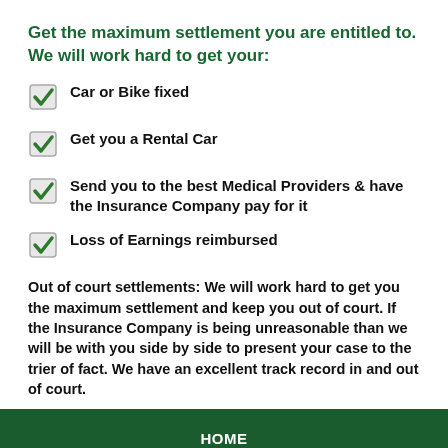Get the maximum settlement you are entitled to. We will work hard to get your:
Car or Bike fixed
Get you a Rental Car
Send you to the best Medical Providers & have the Insurance Company pay for it
Loss of Earnings reimbursed
Out of court settlements: We will work hard to get you the maximum settlement and keep you out of court. If the Insurance Company is being unreasonable than we will be with you side by side to present your case to the trier of fact. We have an excellent track record in and out of court.
HOME
NO RECOVERY NO FEE
TESTIMONIALS
HELP WITH AUTO REPAIR